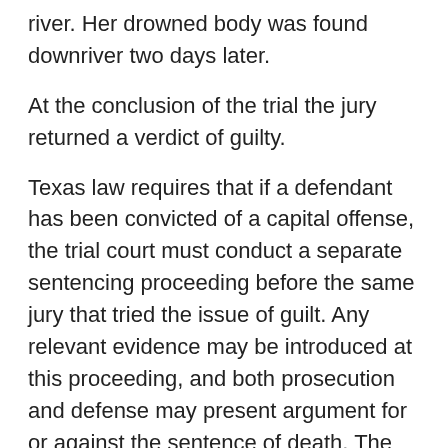river. Her drowned body was found downriver two days later.
At the conclusion of the trial the jury returned a verdict of guilty.
Texas law requires that if a defendant has been convicted of a capital offense, the trial court must conduct a separate sentencing proceeding before the same jury that tried the issue of guilt. Any relevant evidence may be introduced at this proceeding, and both prosecution and defense may present argument for or against the sentence of death. The jury is then presented with two (sometimes three) questions, 4 the answers to which determine whether a death sentence will be imposed.
During the punishment phase of the petitioner's trial, several witnesses for the State testified to the petitioner's bad reputation in the community. The petitioner's father